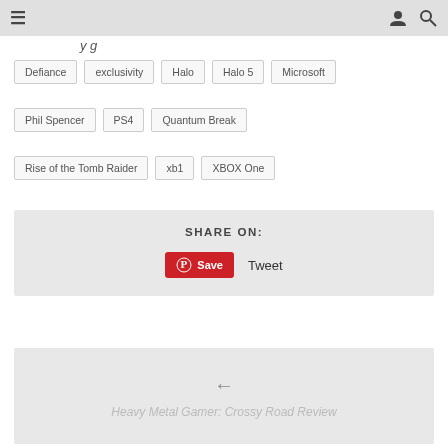≡  [user icon] [search icon]
y g (partial, cut off at top)
Defiance
exclusivity
Halo
Halo 5
Microsoft
Phil Spencer
PS4
Quantum Break
Rise of the Tomb Raider
xb1
XBOX One
SHARE ON:
Save  Tweet
Heavy Metal Gamer: Crossy Road Review